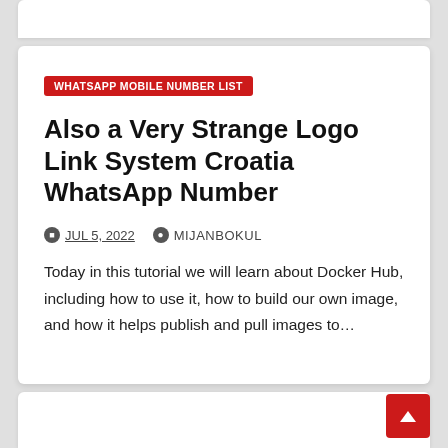WHATSAPP MOBILE NUMBER LIST
Also a Very Strange Logo Link System Croatia WhatsApp Number
JUL 5, 2022   MIJANBOKUL
Today in this tutorial we will learn about Docker Hub, including how to use it, how to build our own image, and how it helps publish and pull images to…